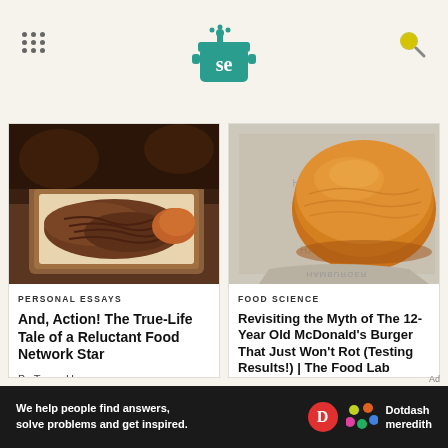Serious Eats logo and navigation header
[Figure (photo): Photo of pulled pork / shredded meat dish in a basket with cooked vegetables]
PERSONAL ESSAYS
And, Action! The True-Life Tale of a Reluctant Food Network Star
By Tyson Ho
[Figure (photo): Photo of a McDonald's hamburger bun wrapped in branded paper, top-down view]
FOOD SCIENCE
Revisiting the Myth of The 12-Year Old McDonald's Burger That Just Won't Rot (Testing Results!) | The Food Lab
By J. Kenji López-Alt
Ad — We help people find answers, solve problems and get inspired. Dotdash meredith